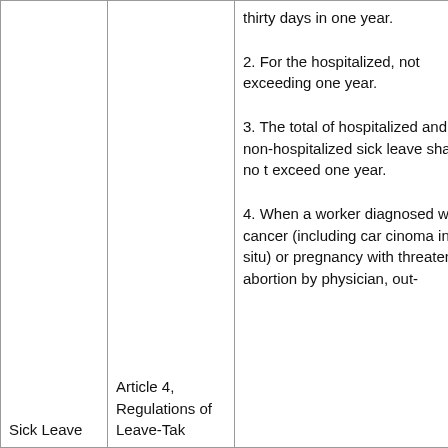| Sick Leave | Article 4, Regulations of Leave-Tak | thirty days in one year.
2. For the hospitalized, not exceeding one year.
3. The total of hospitalized and non-hospitalized sick leave shal l no t exceed one year.
4. When a worker diagnosed with cancer (including car cinoma in situ) or pregnancy with threatened abortion by physician, out- |